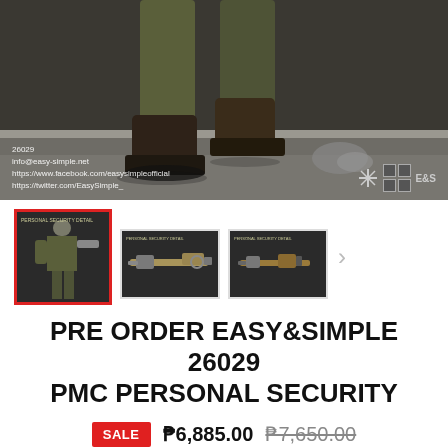[Figure (photo): Close-up photo of a military/tactical figure's legs and boots walking on pavement, with watermark text showing product code 26029 and social media links, and Easy&Simple logo grid in bottom right.]
[Figure (photo): Thumbnail row showing three product images of Easy&Simple 26029 PMC Personal Security figure: first thumbnail (selected, red border) shows full figure in military gear, second shows sniper rifle accessory, third shows another weapon accessory. Arrow indicating more thumbnails.]
PRE ORDER EASY&SIMPLE 26029 PMC PERSONAL SECURITY
SALE ₱6,885.00  ₱7,650.00